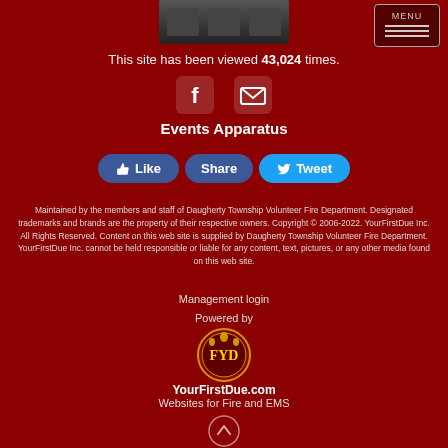[Figure (photo): Fire truck image at top center]
This site has been viewed 43,024 times.
[Figure (illustration): Facebook and email/envelope social icons]
Events
Apparatus
[Figure (screenshot): Like, Share, and Tweet buttons]
Maintained by the members and staff of Daugherty Township Volunteer Fire Department. Designated trademarks and brands are the property of their respective owners. Copyright © 2006-2022. YourFirstDue Inc. All Rights Reserved. Content on this web site is supplied by Daugherty Township Volunteer Fire Department. YourFirstDue Inc. cannot be held responsible or liable for any content, text, pictures, or any other media found on this web site.
Management login
Powered by
[Figure (logo): YFD logo — circular emblem with FYD letters]
YourFirstDue.com
Websites for Fire and EMS